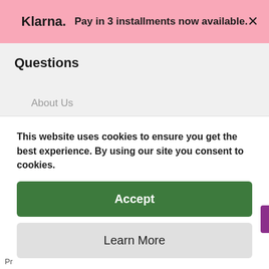Klarna. Pay in 3 installments now available. ×
Questions
About Us
Buy Back
Customer Reviews
Price Promise
This website uses cookies to ensure you get the best experience. By using our site you consent to cookies.
Accept
Learn More